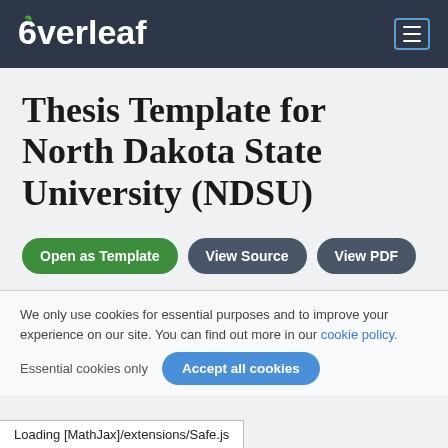Overleaf
Thesis Template for North Dakota State University (NDSU)
Open as Template
View Source
View PDF
We only use cookies for essential purposes and to improve your experience on our site. You can find out more in our cookie policy.
Essential cookies only
Accept all cookies
Loading [MathJax]/extensions/Safe.js